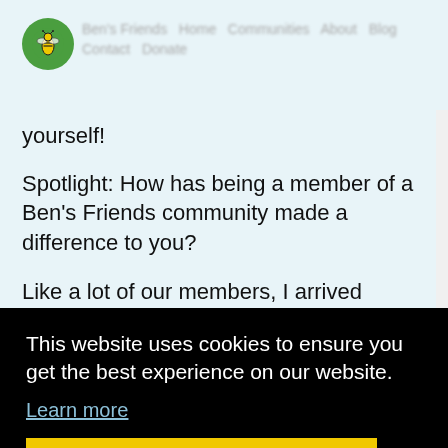[Figure (logo): Ben's Friends circular green logo with bee/flower icon]
[blurred header navigation text]
yourself!
Spotlight: How has being a member of a Ben's Friends community made a difference to you?
Like a lot of our members, I arrived feeling totally alone and desperate about my illness. But since joining, I've never felt alone or desperate again. The more I participated, the stronger the feeling of supporting each other became. I have
This website uses cookies to ensure you get the best experience on our website.
Learn more
Got it!
calibrate and get back on track. I hope th